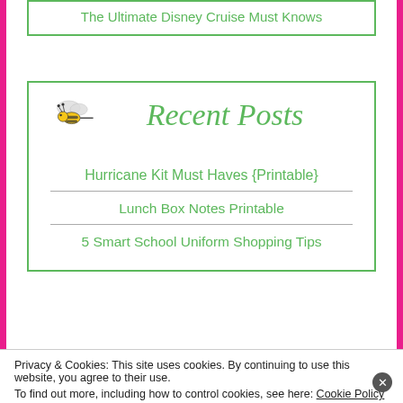The Ultimate Disney Cruise Must Knows
Recent Posts
Hurricane Kit Must Haves {Printable}
Lunch Box Notes Printable
5 Smart School Uniform Shopping Tips
Privacy & Cookies: This site uses cookies. By continuing to use this website, you agree to their use.
To find out more, including how to control cookies, see here: Cookie Policy
Close and accept